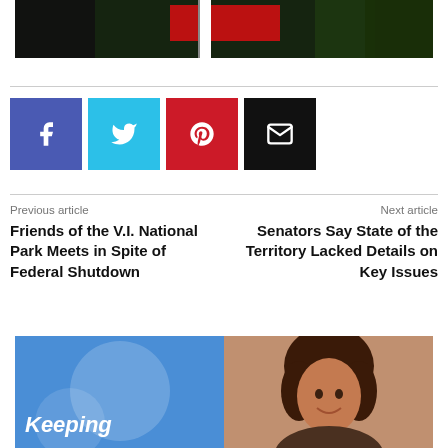[Figure (photo): Partial top image showing a dark background with a red sign and white post, trees visible, cropped at the top of the page]
[Figure (infographic): Social share buttons: Facebook (blue), Twitter (light blue), Pinterest (red), Email (black)]
Previous article
Friends of the V.I. National Park Meets in Spite of Federal Shutdown
Next article
Senators Say State of the Territory Lacked Details on Key Issues
[Figure (photo): Advertisement or promotional image with blue background on the left half and a smiling woman with curly hair on the right half. Text reads 'Keeping' in white italic bold font at the bottom left.]